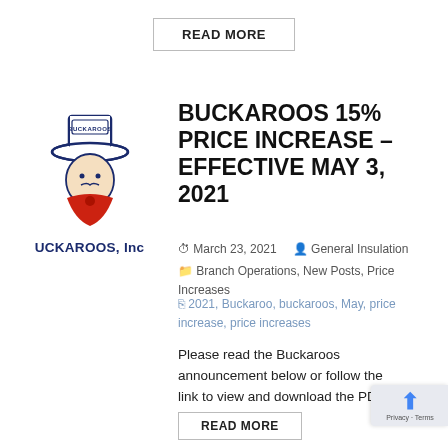READ MORE
[Figure (logo): Buckaroos Inc. logo: illustrated cowboy face with hat, red bandana, navy and red colors, text BUCKAROOS Inc. below]
BUCKAROOS 15% PRICE INCREASE – EFFECTIVE MAY 3, 2021
March 23, 2021   General Insulation
Branch Operations, New Posts, Price Increases
2021, Buckaroo, buckaroos, May, price increase, price increases
Please read the Buckaroos announcement below or follow the link to view and download the PDF document.
READ MORE